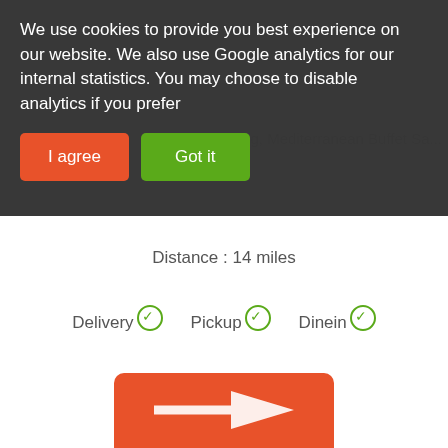We use cookies to provide you best experience on our website. We also use Google analytics for our internal statistics. You may choose to disable analytics if you prefer
I agree
Got it
Distance : 14 miles
Delivery ✓  Pickup ✓  Dinein ✓
Order Now
Order Instant Buffet For your event / occasion and search services from 42 Essex BBQ Catering Buffet Service Providers local to you now. OR GET QUOTES IN JUST 60 SECONDS!
X
Search Now
Get Quotes